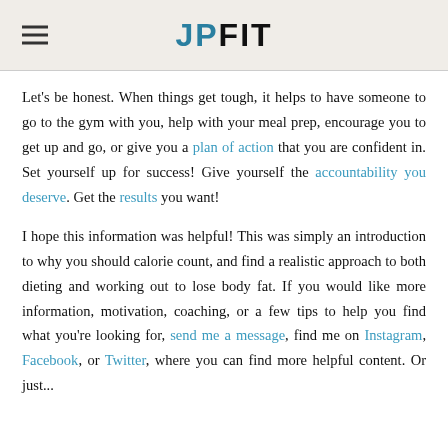JPFIT
Let's be honest. When things get tough, it helps to have someone to go to the gym with you, help with your meal prep, encourage you to get up and go, or give you a plan of action that you are confident in. Set yourself up for success! Give yourself the accountability you deserve. Get the results you want!
I hope this information was helpful! This was simply an introduction to why you should calorie count, and find a realistic approach to both dieting and working out to lose body fat. If you would like more information, motivation, coaching, or a few tips to help you find what you're looking for, send me a message, find me on Instagram, Facebook, or Twitter, where you can find more helpful content. Or just...